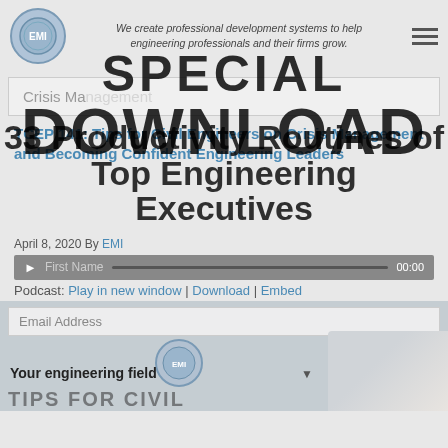We create professional development systems to help engineering professionals and their firms grow.
SPECIAL DOWNLOAD
Crisis Management
33 Productivity Routines of Top Engineering Executives
TCEP 141: Tips for Civil Engineers on Crisis Management and Becoming Confident Engineering Leaders
April 8, 2020 By EMI
00:00
Podcast: Play in new window | Download | Embed
First Name
Email Address
Your engineering field